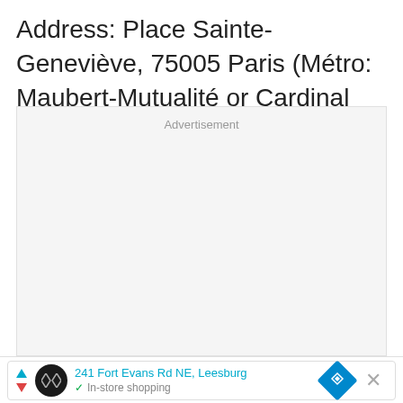Address: Place Sainte-Geneviève, 75005 Paris (Métro: Maubert-Mutualité or Cardinal Lemoine station)
[Figure (other): Advertisement placeholder box with 'Advertisement' label at top center, light gray background.]
241 Fort Evans Rd NE, Leesburg
In-store shopping